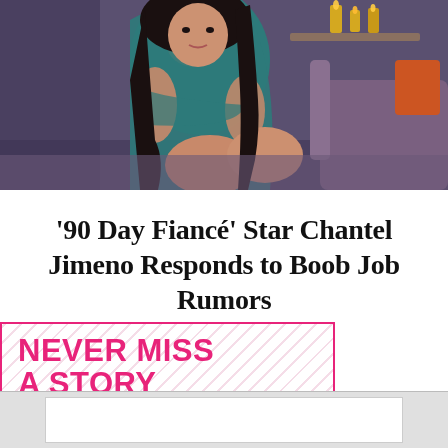[Figure (photo): Woman in teal/green dress sitting cross-armed in a grey chair, dark background with candles]
'90 Day Fiancé' Star Chantel Jimeno Responds to Boob Job Rumors
[Figure (infographic): NEVER MISS A STORY promotional box with pink border and magazine cover thumbnails at the bottom]
[Figure (other): White footer bar area]